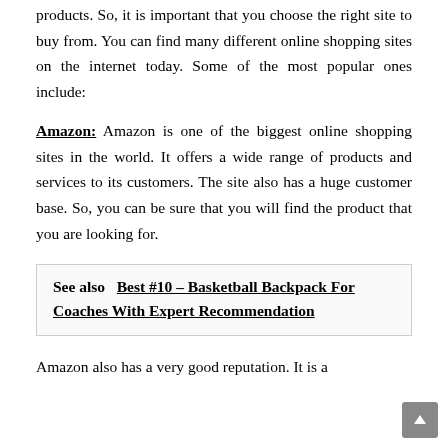products. So, it is important that you choose the right site to buy from. You can find many different online shopping sites on the internet today. Some of the most popular ones include:
Amazon: Amazon is one of the biggest online shopping sites in the world. It offers a wide range of products and services to its customers. The site also has a huge customer base. So, you can be sure that you will find the product that you are looking for.
See also  Best #10 – Basketball Backpack For Coaches With Expert Recommendation
Amazon also has a very good reputation. It is a